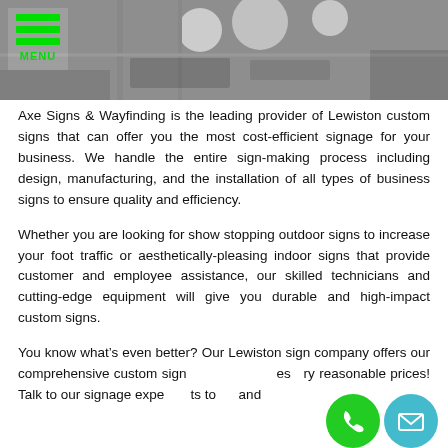[Figure (photo): Hero image showing a storefront with signs, with a hamburger menu button (green lines and MENU text) in the top-left corner]
Axe Signs & Wayfinding is the leading provider of Lewiston custom signs that can offer you the most cost-efficient signage for your business. We handle the entire sign-making process including design, manufacturing, and the installation of all types of business signs to ensure quality and efficiency.
Whether you are looking for show stopping outdoor signs to increase your foot traffic or aesthetically-pleasing indoor signs that provide customer and employee assistance, our skilled technicians and cutting-edge equipment will give you durable and high-impact custom signs.
You know what’s even better? Our Lewiston sign company offers our comprehensive custom sign services at very reasonable prices! Talk to our signage experts today and